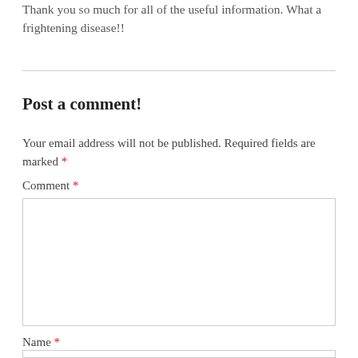Thank you so much for all of the useful information. What a frightening disease!!
Post a comment!
Your email address will not be published. Required fields are marked *
Comment *
Name *